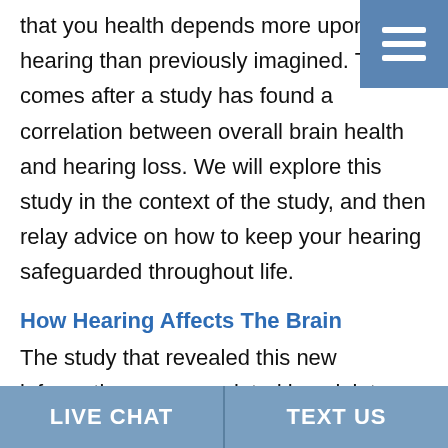that you health depends more upon your hearing than previously imagined. This comes after a study has found a correlation between overall brain health and hearing loss. We will explore this study in the context of the study, and then relay advice on how to keep your hearing safeguarded throughout life.
How Hearing Affects The Brain
The study that revealed this new information was completed by a joint effort of researchers from Johns Hopkins University and The National Institute on Aging. They had a sample size of 126 individuals who they brought in for annual screening such as routine physicals as well as MRIs. This study...
LIVE CHAT   TEXT US